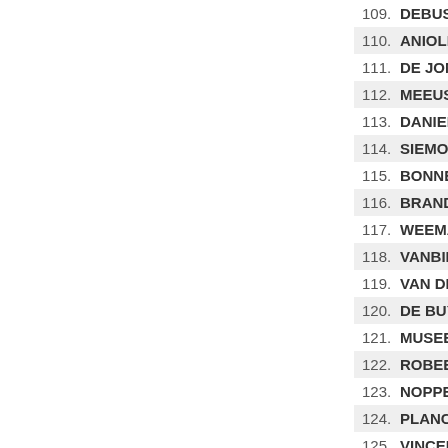109. DEBUSSCHERE Jens
110. ANIOLKOWSKI Stanislaw
111. DE JONG Timo
112. MEEUS Jordi
113. DANIELS Simon
114. SIEMONS Stijn
115. BONNET Theo
116. BRANDLE Matthias
117. WEEMAES Sasha
118. VANBILSEN Kenneth
119. VAN DER HOORN Taco
120. DE BUYST Jasper
121. MUSEEUW Stefano
122. ROBEET Ludovic
123. NOPPE Christophe
124. PLANCKAERT Edward
125. VINCENT Johan
126. VERMELTFOORT Coen
127. EISING Tijmen
12 Abandoned
33. KOCH Jonas
43. EGHOLM Jacob
66. LEIJNSE Enzo
67. RODENBERG MADSEN R
125. HERREGODTS Rune
132. LIVYNS Arjen
145. HUYBS Ward